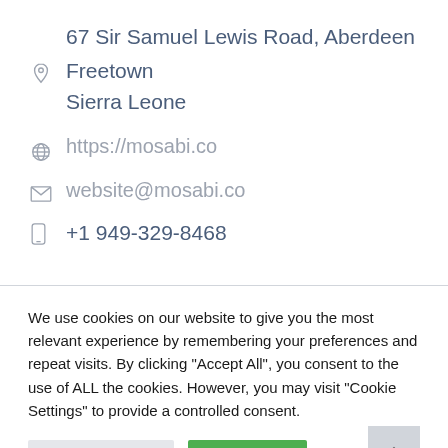67 Sir Samuel Lewis Road, Aberdeen
Freetown
Sierra Leone
https://mosabi.co
website@mosabi.co
+1 949-329-8468
We use cookies on our website to give you the most relevant experience by remembering your preferences and repeat visits. By clicking "Accept All", you consent to the use of ALL the cookies. However, you may visit "Cookie Settings" to provide a controlled consent.
Cookie Settings
Accept All